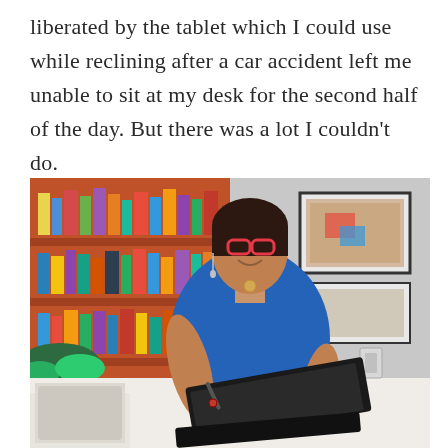liberated by the tablet which I could use while reclining after a car accident left me unable to sit at my desk for the second half of the day. But there was a lot I couldn't do.
[Figure (photo): A woman with red glasses wearing a blue sleeveless dress sits on a white couch, holding a stylus and using a tablet/laptop device. Behind her is an orange bookshelf filled with books, and a framed artwork on the wall.]